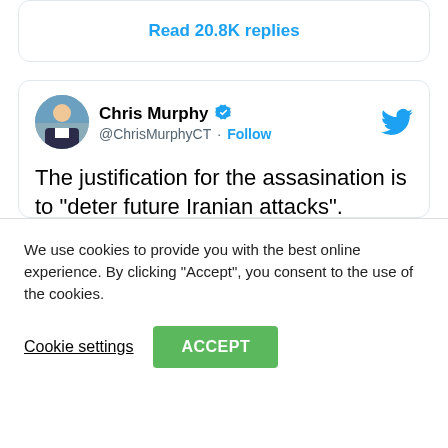Read 20.8K replies
[Figure (screenshot): Tweet by Chris Murphy (@ChrisMurphyCT) with verified badge and Follow button. Tweet text: 'The justification for the assasination is to "deter future Iranian attacks". One reason we don't generally assasinate foreign political officials is the belief that such action will get more, not less, Americans killed']
We use cookies to provide you with the best online experience. By clicking "Accept", you consent to the use of the cookies.
Cookie settings
ACCEPT